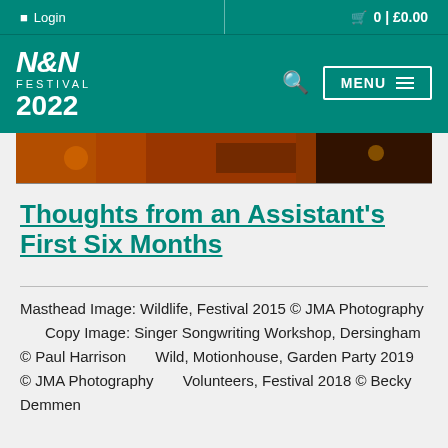Login   0 | £0.00
[Figure (logo): N&N Festival 2022 logo in white text on teal background with MENU button and search icon]
[Figure (photo): Hero banner photo showing outdoor festival scene with warm orange/red lighting]
Thoughts from an Assistant's First Six Months
Masthead Image: Wildlife, Festival 2015 © JMA Photography      Copy Image: Singer Songwriting Workshop, Dersingham © Paul Harrison      Wild, Motionhouse, Garden Party 2019 © JMA Photography      Volunteers, Festival 2018 © Becky Demmen